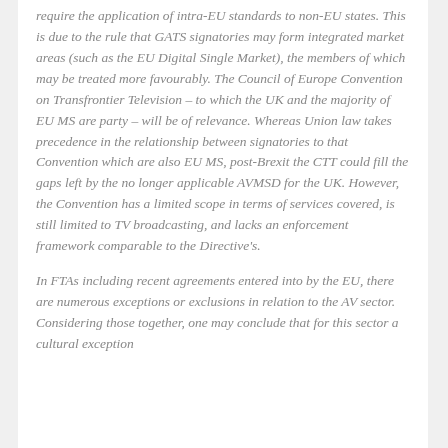require the application of intra-EU standards to non-EU states. This is due to the rule that GATS signatories may form integrated market areas (such as the EU Digital Single Market), the members of which may be treated more favourably. The Council of Europe Convention on Transfrontier Television – to which the UK and the majority of EU MS are party – will be of relevance. Whereas Union law takes precedence in the relationship between signatories to that Convention which are also EU MS, post-Brexit the CTT could fill the gaps left by the no longer applicable AVMSD for the UK. However, the Convention has a limited scope in terms of services covered, is still limited to TV broadcasting, and lacks an enforcement framework comparable to the Directive's.
In FTAs including recent agreements entered into by the EU, there are numerous exceptions or exclusions in relation to the AV sector. Considering those together, one may conclude that for this sector a cultural exception